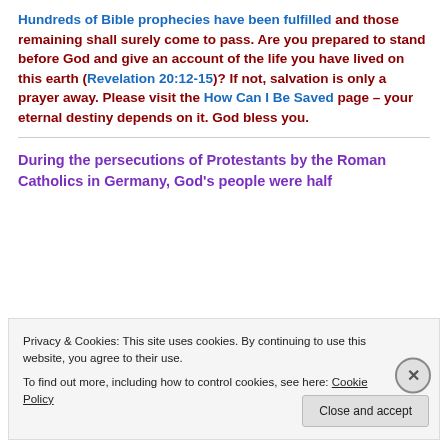Hundreds of Bible prophecies have been fulfilled and those remaining shall surely come to pass. Are you prepared to stand before God and give an account of the life you have lived on this earth (Revelation 20:12-15)? If not, salvation is only a prayer away. Please visit the How Can I Be Saved page – your eternal destiny depends on it. God bless you.
During the persecutions of Protestants by the Roman Catholics in Germany, God's people were half
Privacy & Cookies: This site uses cookies. By continuing to use this website, you agree to their use. To find out more, including how to control cookies, see here: Cookie Policy